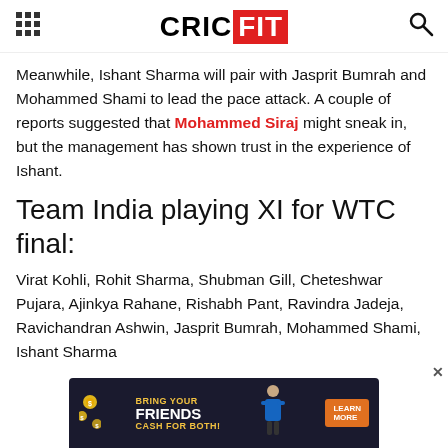CRICFIT
Meanwhile, Ishant Sharma will pair with Jasprit Bumrah and Mohammed Shami to lead the pace attack. A couple of reports suggested that Mohammed Siraj might sneak in, but the management has shown trust in the experience of Ishant.
Team India playing XI for WTC final:
Virat Kohli, Rohit Sharma, Shubman Gill, Cheteshwar Pujara, Ajinkya Rahane, Rishabh Pant, Ravindra Jadeja, Ravichandran Ashwin, Jasprit Bumrah, Mohammed Shami, Ishant Sharma
[Figure (other): Advertisement banner: BRING YOUR FRIENDS CASH FOR BOTH with coins and a cricket player figure and LEARN MORE button]